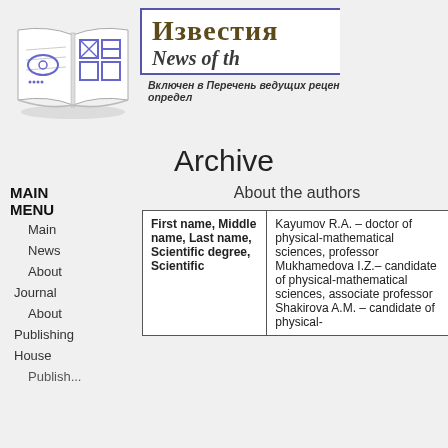[Figure (illustration): Open book logo with blue geometric symbols on pages]
Известия / News of th...
Включен в Перечень ведущих рецен... определ...
Archive
MAIN MENU
Main
News
About
Journal
About
Publishing
House
About the authors
| First name, Middle name, Last name, Scientific degree, Scientific... | Kayumov R.A. – doctor of physical-mathematical sciences, professor Mukhamedova I.Z.– candidate of physical-mathematical sciences, associate professor Shakirova A.M. – candidate of physical-... |
| --- | --- |